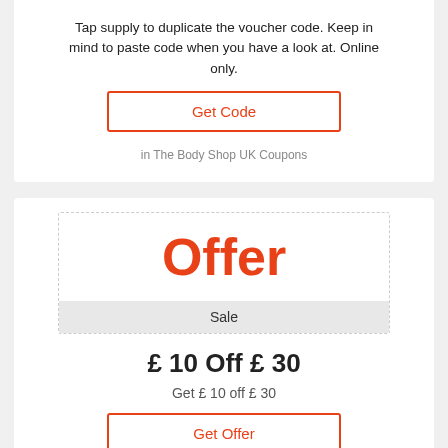Tap supply to duplicate the voucher code. Keep in mind to paste code when you have a look at. Online only.
Get Code
in The Body Shop UK Coupons
[Figure (other): Offer badge with dashed border showing 'Offer' in large orange bold text and 'Sale' label in a grey bar below]
£ 10 Off £ 30
Get £ 10 off £ 30
Get Offer
in The Body Shop UK Coupons